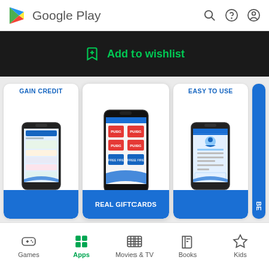[Figure (screenshot): Google Play Store header with logo, search, help, and account icons]
Add to wishlist
[Figure (screenshot): Three app screenshot cards: GAIN CREDIT, REAL GIFTCARDS, EASY TO USE - showing mobile app screens with phone mockups on blue backgrounds]
[Figure (screenshot): Bottom navigation bar with Games, Apps (active), Movies & TV, Books, Kids]